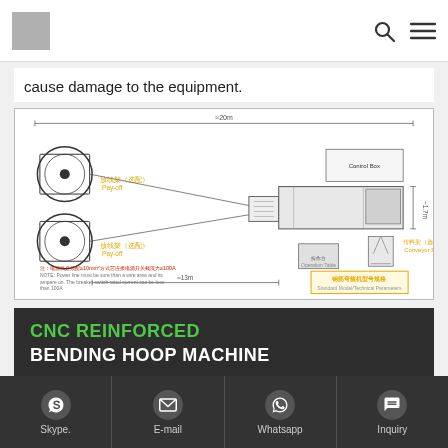[Logo] [Search icon] [Menu icon]
cause damage to the equipment.
[Figure (engineering-diagram): Technical layout diagram of a CNC steel wire bending hoop machine installation, showing two large payoff reels (labeled in Chinese and English), guide components, the main bending unit, an operation panel, a material support frame (optional), and a control box with power supply notes. Includes dimensional annotations for total length (~20m) and height (~1.7m). Notes in red Chinese and English text about power line requirements (10mm² minimum, current capacity >100A).]
CNC REINFORCED
BENDING HOOP MACHINE
intelligent cnc steel processing equipment
Skype.   E-mail   Whatsapp   Inquiry